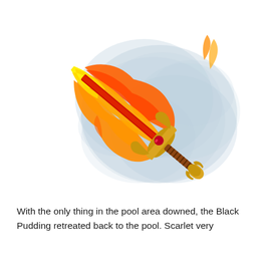[Figure (illustration): A fantasy flaming sword tilted diagonally (lower-left to upper-right). The blade is engulfed in large orange and red flames. The hilt is ornate gold with a red gemstone. Behind the sword is a soft blue-grey watercolor cloud/smoke effect.]
With the only thing in the pool area downed, the Black Pudding retreated back to the pool. Scarlet very